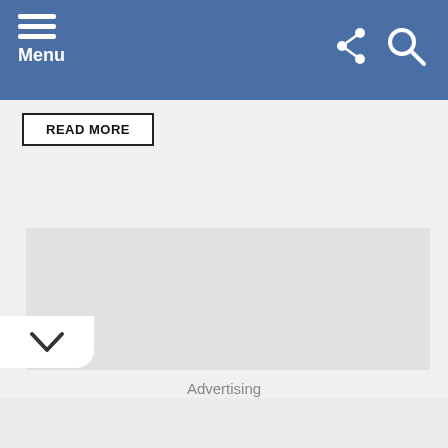Menu
READ MORE
[Figure (other): Grey advertisement placeholder rectangle]
Advertising